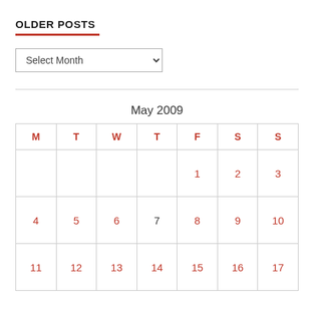OLDER POSTS
Select Month
| M | T | W | T | F | S | S |
| --- | --- | --- | --- | --- | --- | --- |
|  |  |  |  | 1 | 2 | 3 |
| 4 | 5 | 6 | 7 | 8 | 9 | 10 |
| 11 | 12 | 13 | 14 | 15 | 16 | 17 |